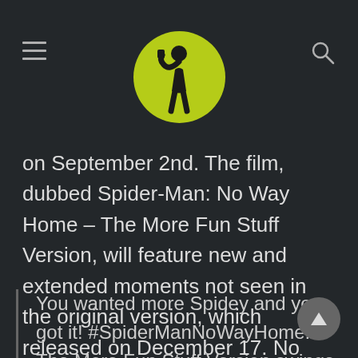[Site logo with hamburger menu and search icon]
on September 2nd. The film, dubbed Spider-Man: No Way Home – The More Fun Stuff Version, will feature new and extended moments not seen in the original version, which released on December 17. No Way Home's official Twitter account posted the message.
You wanted more Spidey and you got it! #SpiderManNoWayHome: The More Fun Stuff Version swings into movie theaters in the US and Canada September 2! More